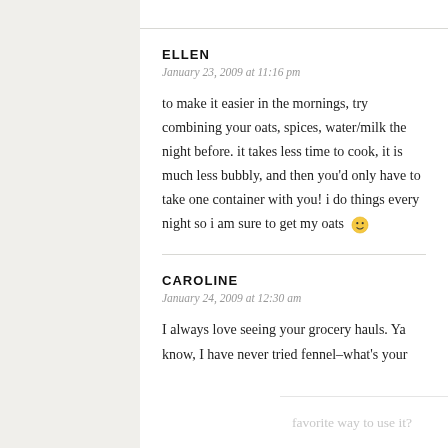ELLEN
January 23, 2009 at 11:16 pm
to make it easier in the mornings, try combining your oats, spices, water/milk the night before. it takes less time to cook, it is much less bubbly, and then you'd only have to take one container with you! i do things every night so i am sure to get my oats 🙂
CAROLINE
January 24, 2009 at 12:30 am
I always love seeing your grocery hauls. Ya know, I have never tried fennel–what's your favorite way to use it?